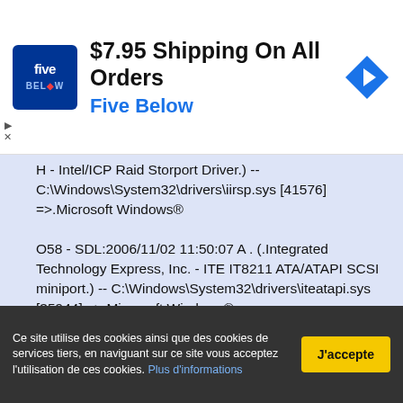[Figure (screenshot): Five Below advertisement banner with logo, title '$7.95 Shipping On All Orders', subtitle 'Five Below', and a navigation arrow icon]
H - Intel/ICP Raid Storport Driver.) -- C:\Windows\System32\drivers\iirsp.sys [41576] =>.Microsoft Windows®
O58 - SDL:2006/11/02 11:50:07 A . (.Integrated Technology Express, Inc. - ITE IT8211 ATA/ATAPI SCSI miniport.) -- C:\Windows\System32\drivers\iteatapi.sys [35944] =>.Microsoft Windows®
O58 - SDL:2006/11/02 11:50:09 A . (.Integrated Technology Express, Inc. - ITE IT8212 ATA RAID SCSI miniport.) -- C:\Windows\System32\drivers\iteraid.sys [35944] =>.Microsoft Windows®
O58 - SDL:2008/01/21 04:23:23 A . (.LSI Logic - LSI Logic Fusion-MPT FC Driver (StorPort).) -- C:\Windows\System32\drivers\lsi_fc.sys [96312] =>.Microsoft Windows®
Ce site utilise des cookies ainsi que des cookies de services tiers, en naviguant sur ce site vous acceptez l'utilisation de ces cookies. Plus d'informations